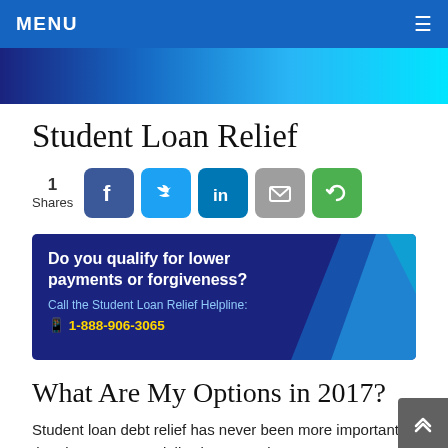MENU
Student Loan Relief
1 Shares
[Figure (infographic): Ad banner: Do you qualify for lower payments or forgiveness? Call the Student Loan Relief Helpline: 1-888-906-3065]
What Are My Options in 2017?
Student loan debt relief has never been more important than in 2016, especially since Americans